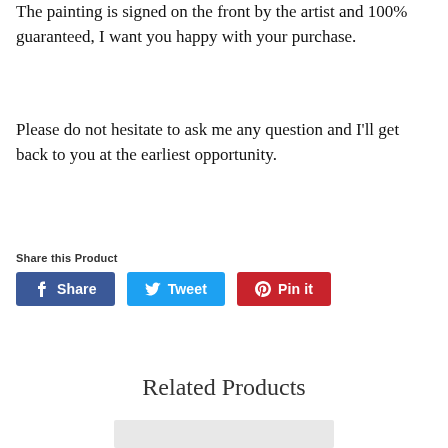The painting is signed on the front by the artist and 100% guaranteed, I want you happy with your purchase.
Please do not hesitate to ask me any question and I'll get back to you at the earliest opportunity.
Share this Product
Share  Tweet  Pin it
Related Products